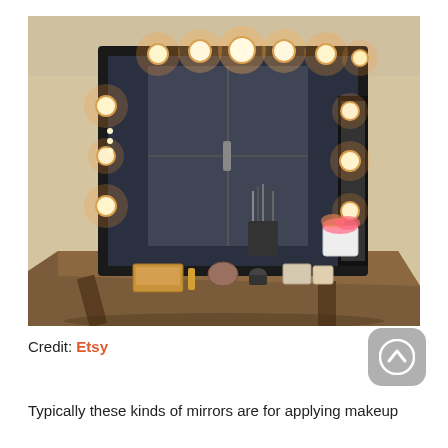[Figure (photo): A Hollywood-style vanity mirror with round bulb lights around its black frame, sitting on a wooden dressing table. The mirror reflects a window. On the table are makeup brushes, cosmetics, a potted plant, and various beauty products. The room has warm ambient lighting from the mirror bulbs.]
Credit: Etsy
Typically these kinds of mirrors are for applying makeup